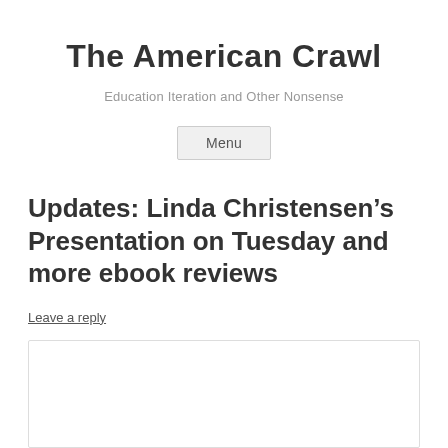The American Crawl
Education Iteration and Other Nonsense
Menu
Updates: Linda Christensen’s Presentation on Tuesday and more ebook reviews
Leave a reply